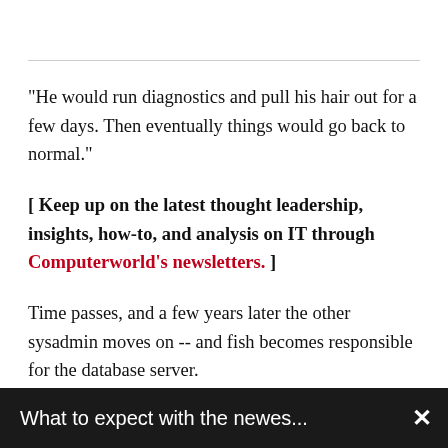"He would run diagnostics and pull his hair out for a few days. Then eventually things would go back to normal."
[ Keep up on the latest thought leadership, insights, how-to, and analysis on IT through Computerworld’s newsletters. ]
Time passes, and a few years later the other sysadmin moves on -- and fish becomes responsible for the database server.
What to expect with the newes...